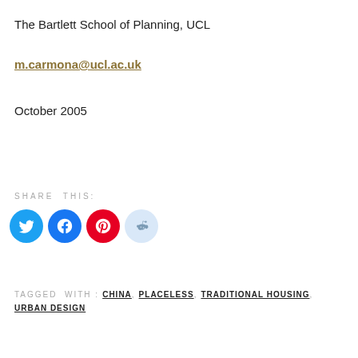The Bartlett School of Planning, UCL
m.carmona@ucl.ac.uk
October 2005
SHARE THIS:
[Figure (infographic): Social share buttons: Twitter (blue circle), Facebook (blue circle), Pinterest (red circle), Reddit (light blue circle)]
TAGGED WITH: CHINA, PLACELESS, TRADITIONAL HOUSING, URBAN DESIGN